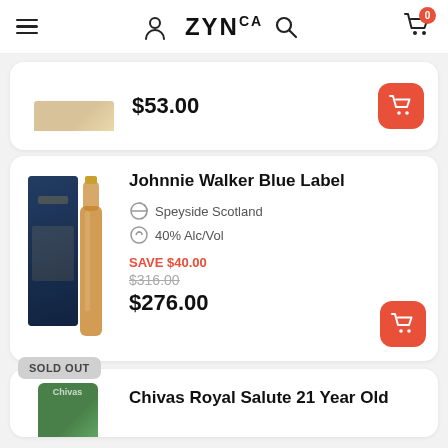ZYNca — navigation header with menu, user, logo, search, and cart icons
$53.00
Johnnie Walker Blue Label
Speyside Scotland
40% Alc/Vol
SAVE $40.00
$316.00 (original price, strikethrough)
$276.00
SOLD OUT
Chivas Royal Salute 21 Year Old